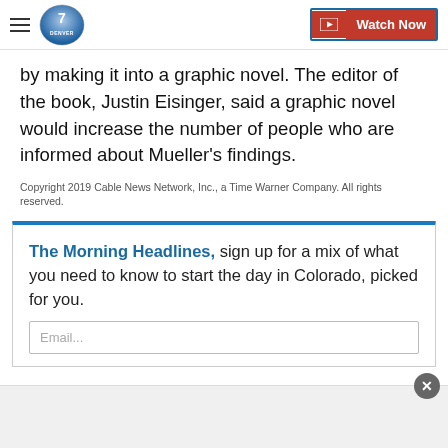Denver7 — Watch Now
by making it into a graphic novel. The editor of the book, Justin Eisinger, said a graphic novel would increase the number of people who are informed about Mueller's findings.
Copyright 2019 Cable News Network, Inc., a Time Warner Company. All rights reserved.
The Morning Headlines, sign up for a mix of what you need to know to start the day in Colorado, picked for you.